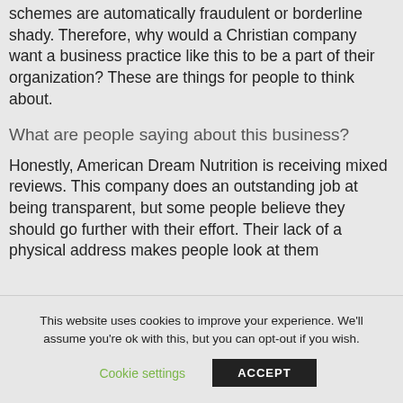schemes are automatically fraudulent or borderline shady. Therefore, why would a Christian company want a business practice like this to be a part of their organization? These are things for people to think about.
What are people saying about this business?
Honestly, American Dream Nutrition is receiving mixed reviews. This company does an outstanding job at being transparent, but some people believe they should go further with their effort. Their lack of a physical address makes people look at them
This website uses cookies to improve your experience. We'll assume you're ok with this, but you can opt-out if you wish.